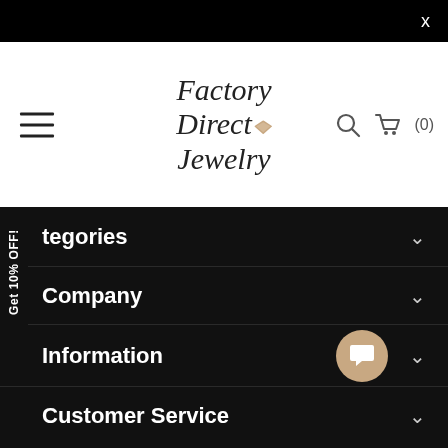X
[Figure (logo): Factory Direct Jewelry logo with diamond icon, hamburger menu icon on left, search and cart icons on right]
Get 10% OFF!
Categories ∨
Company ∨
Information ∨
Customer Service ∨